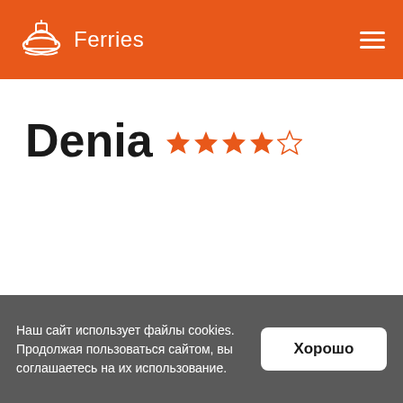Ferries
Denia ★★★★☆
Наш сайт использует файлы cookies. Продолжая пользоваться сайтом, вы соглашаетесь на их использование.